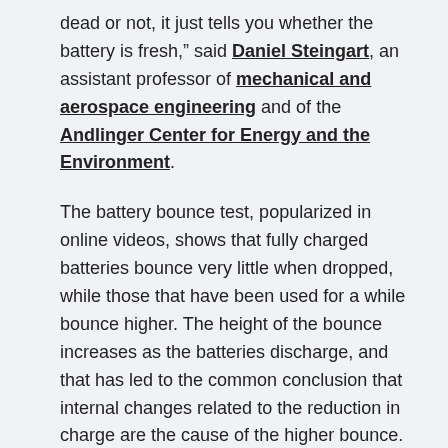dead or not, it just tells you whether the battery is fresh," said Daniel Steingart, an assistant professor of mechanical and aerospace engineering and of the Andlinger Center for Energy and the Environment.
The battery bounce test, popularized in online videos, shows that fully charged batteries bounce very little when dropped, while those that have been used for a while bounce higher. The height of the bounce increases as the batteries discharge, and that has led to the common conclusion that internal changes related to the reduction in charge are the cause of the higher bounce.
“A year ago a buddy of mine who knows I work on this sent me this video and said did you know this